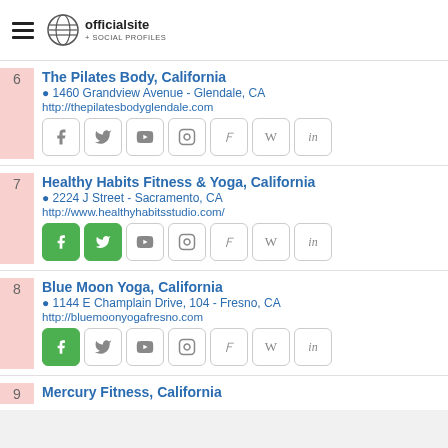officialsite + SOCIAL PROFILES
6 The Pilates Body, California | 1460 Grandview Avenue - Glendale, CA | http://thepilatesbodyglendale.com
7 Healthy Habits Fitness & Yoga, California | 2224 J Street - Sacramento, CA | http://www.healthyhabitsstudio.com/
8 Blue Moon Yoga, California | 1144 E Champlain Drive, 104 - Fresno, CA | http://bluemoonyogafresno.com
9 Mercury Fitness, California